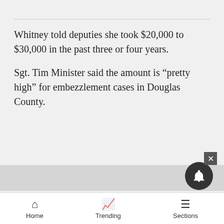Whitney told deputies she took $20,000 to $30,000 in the past three or four years.
Sgt. Tim Minister said the amount is “pretty high” for embezzlement cases in Douglas County.
Whitney was first confronted about the missing money by Michael Dupree, a certified public accountant and co-owner of the business. At first, Dupree thought only $7,000 was embezzled by Whitney. Dupree found Whitney writing checks to herself from the business account of Gardner
Home   Trending   Sections